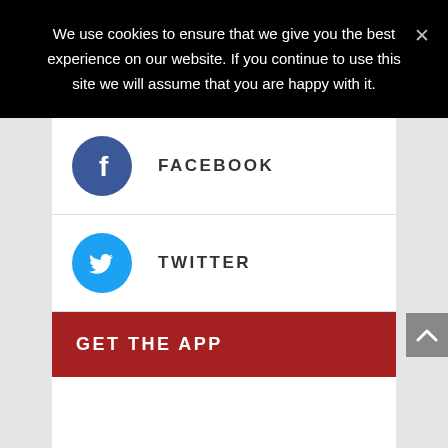We use cookies to ensure that we give you the best experience on our website. If you continue to use this site we will assume that you are happy with it.
[Figure (infographic): Social share button for Facebook with blue circular icon containing letter f and label FACEBOOK]
[Figure (infographic): Social share button for Twitter with cyan circular icon containing bird logo and label TWITTER]
GET THE APP